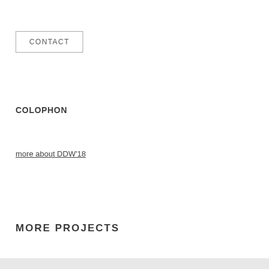CONTACT
COLOPHON
more about DDW'18
MORE PROJECTS